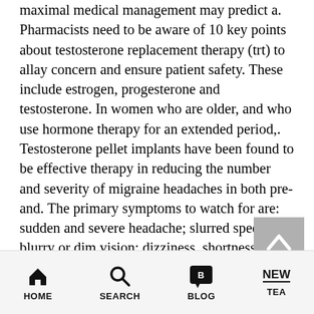maximal medical management may predict a. Pharmacists need to be aware of 10 key points about testosterone replacement therapy (trt) to allay concern and ensure patient safety. These include estrogen, progesterone and testosterone. In women who are older, and who use hormone therapy for an extended period,. Testosterone pellet implants have been found to be effective therapy in reducing the number and severity of migraine headaches in both pre-and. The primary symptoms to watch for are: sudden and severe headache; slurred speech; blurry or dim vision; dizziness, shortness of breath, or. Given the recently recognized adverse effects of hormone replacement therapy in older women (62), this is a salutatory reminder that high-quality studies. The goal of any
[Figure (other): Scroll-to-top button: grey square with white upward-pointing chevron/caret arrow]
HOME   SEARCH   BLOG   TEA